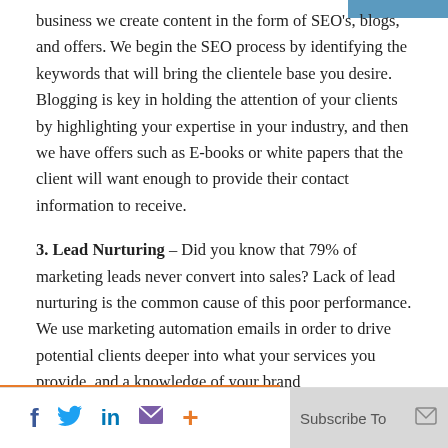business we create content in the form of SEO's, blogs, and offers. We begin the SEO process by identifying the keywords that will bring the clientele base you desire. Blogging is key in holding the attention of your clients by highlighting your expertise in your industry, and then we have offers such as E-books or white papers that the client will want enough to provide their contact information to receive.
3. Lead Nurturing – Did you know that 79% of marketing leads never convert into sales? Lack of lead nurturing is the common cause of this poor performance. We use marketing automation emails in order to drive potential clients deeper into what your services you provide, and a knowledge of your brand
f  in  Subscribe To